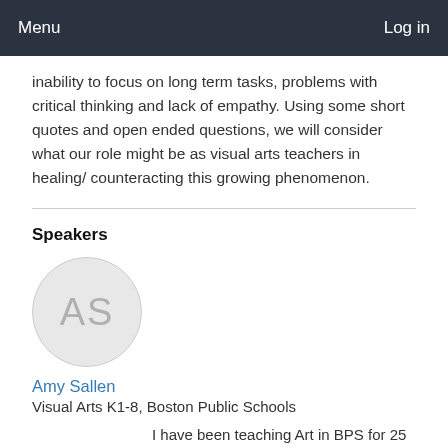Menu   Log in
inability to focus on long term tasks, problems with critical thinking and lack of empathy. Using some short quotes and open ended questions, we will consider what our role might be as visual arts teachers in healing/ counteracting this growing phenomenon.
Speakers
[Figure (illustration): Circular avatar with initials AS on a light grey background]
Amy Sallen
Visual Arts K1-8, Boston Public Schools
I have been teaching Art in BPS for 25 years. I studied painting at Boston